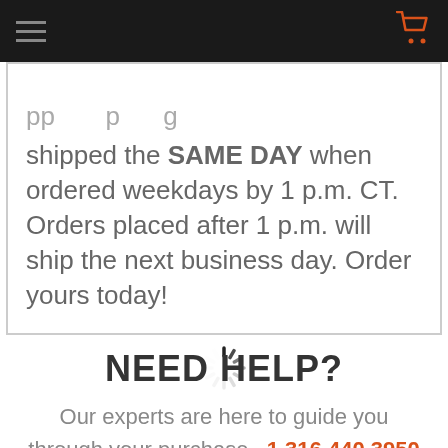[navigation bar with hamburger menu and cart icon]
shipped the SAME DAY when ordered weekdays by 1 p.m. CT. Orders placed after 1 p.m. will ship the next business day. Order yours today!
[Figure (other): Loading spinner icon (circular spinner with dark spokes)]
NEED HELP?
Our experts are here to guide you through your purchase. 1.316.440.3950